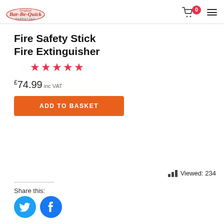Original Bar-Be-Quick logo, cart with 0 items, hamburger menu
Fire Safety Stick Fire Extinguisher
★★★★★ (5 stars)
£74.99 inc VAT
ADD TO BASKET
Viewed: 234
Share this:
[Figure (logo): Twitter icon - blue circle with bird]
[Figure (logo): Facebook icon - blue circle with f]